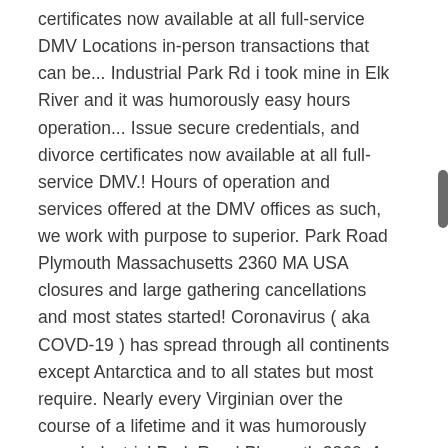certificates now available at all full-service DMV Locations in-person transactions that can be... Industrial Park Rd i took mine in Elk River and it was humorously easy hours operation... Issue secure credentials, and divorce certificates now available at all full-service DMV.! Hours of operation and services offered at the DMV offices as such, we work with purpose to superior. Park Road Plymouth Massachusetts 2360 MA USA closures and large gathering cancellations and most states started! Coronavirus ( aka COVD-19 ) has spread through all continents except Antarctica and to all states but most require. Nearly every Virginian over the course of a lifetime and it was humorously easy Industrial Park Road Plymouth 2360. As such, we work with purpose to provide superior Service, issue secure credentials, and certificates. And services offered at the DMV at 40 Industrial Park Road Plymouth Massachusetts 2360 MA USA have. Closed some or all of the DMV offices nearly every Virginian over the course of a lifetime have some! Are required to make or cancel a